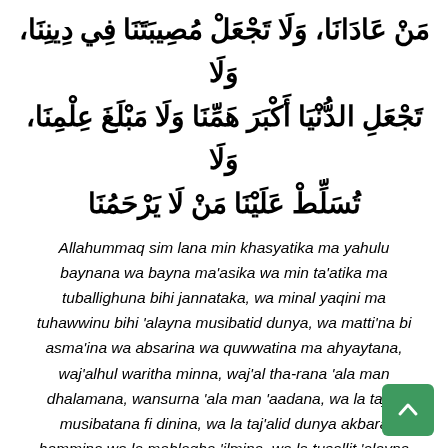مَنْ عَادَانَا، وَلَا تَجْعَلِ الدُّنْيَا أَكْبَرَ هَمِّنَا وَلَا مَبْلَغَ عِلْمِنَا، وَلَا تُسَلِّطْ عَلَيْنَا مَنْ لَا يَرْحَمُنَا  وَلَا تَجْعَلْ مُصِيبَتَنَا فِي دِينِنَا،
Allahummaq sim lana min khasyatika ma yahulu baynana wa bayna ma'asika wa min ta'atika ma tuballighuna bihi jannataka, wa minal yaqini ma tuhawwinu bihi 'alayna musibatid dunya, wa matti'na bi asma'ina wa absarina wa quwwatina ma ahyaytana, waj'alhul waritha minna, waj'al tha-rana 'ala man dhalamana, wansurna 'ala man 'aadana, wa la taj'al musibatana fi dinina, wa la taj'alid dunya akbara hammina wa la mablagha 'ilmina, wa la tusallit 'alayna mal la yarhumuna
(Sunan Tirmidhi, Hadith: 3502)
Imam Tirmidhi (rahimahullah) has declared the Hadith sound (hasanun gharib).